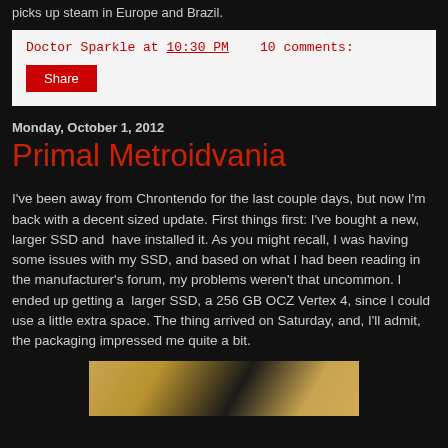picks up steam in Europe and Brazil.
Doctor Sparkle at 10:30 PM   10 comments:
Share
Monday, October 1, 2012
Primal Metroidvania
I've been away from Chrontendo for the last couple days, but now I'm back with a decent sized update. First things first: I've bought a new, larger SSD and  have installed it. As you might recall, I was having some issues with my SSD, and based on what I had been reading in the manufacturer's forum, my problems weren't that uncommon. I ended up getting a  larger SSD, a 256 GB OCZ Vertex 4, since I could use a little extra space. The thing arrived on Saturday, and, I'll admit, the packaging impressed me quite a bit.
[Figure (photo): Bottom portion of a photo showing what appears to be packaging with wood grain and dark elements]